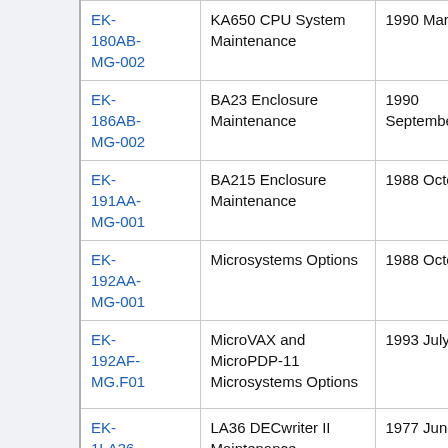|  | Code | Description | Date |
| --- | --- | --- | --- |
|  | EK-180AB-MG-002 | KA650 CPU System Maintenance | 1990 March |
|  | EK-186AB-MG-002 | BA23 Enclosure Maintenance | 1990 September |
|  | EK-191AA-MG-001 | BA215 Enclosure Maintenance | 1988 October |
|  | EK-192AA-MG-001 | Microsystems Options | 1988 October |
|  | EK-192AF-MG.F01 | MicroVAX and MicroPDP-11 Microsystems Options | 1993 July |
|  | EK-1LA36-MM- | LA36 DECwriter II Maintenance | 1977 June |